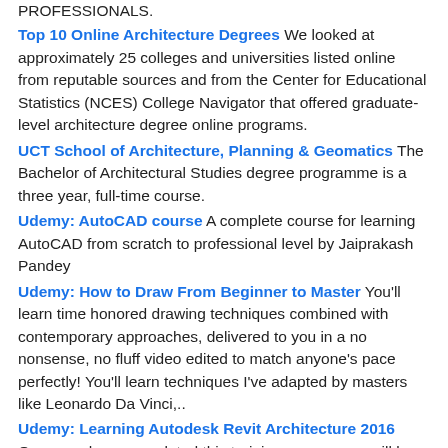PROFESSIONALS.
Top 10 Online Architecture Degrees We looked at approximately 25 colleges and universities listed online from reputable sources and from the Center for Educational Statistics (NCES) College Navigator that offered graduate-level architecture degree online programs.
UCT School of Architecture, Planning & Geomatics The Bachelor of Architectural Studies degree programme is a three year, full-time course.
Udemy: AutoCAD course A complete course for learning AutoCAD from scratch to professional level by Jaiprakash Pandey
Udemy: How to Draw From Beginner to Master You'll learn time honored drawing techniques combined with contemporary approaches, delivered to you in a no nonsense, no fluff video edited to match anyone's pace perfectly! You'll learn techniques I've adapted by masters like Leonardo Da Vinci,..
Udemy: Learning Autodesk Revit Architecture 2016 Once you have completed this training course, you will be fully capable of creating your own Revit models using the tools and techniques available in this software program from Autodesk
Udemy: Revit Architecture: Course Complete Beginner to...